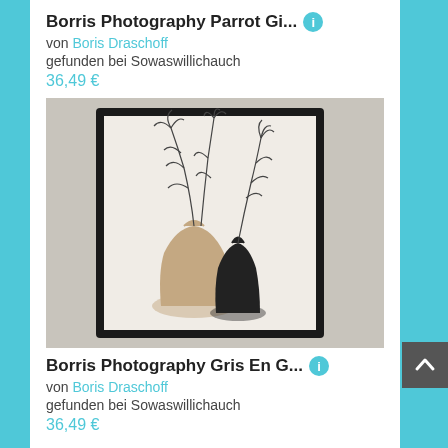Borris Photography Parrot Gi...
von Boris Draschoff
gefunden bei Sowaswillichauch
36,49 €
[Figure (illustration): A framed artwork showing two vases (one beige/tan, one black) with minimalist line-drawn botanical branches and leaves above them, displayed against a light gray fabric/cloth background.]
Borris Photography Gris En G...
von Boris Draschoff
gefunden bei Sowaswillichauch
36,49 €